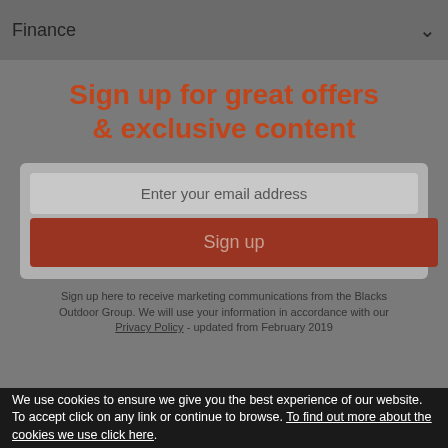Finance
Sign up for great offers & exclusive content
Enter your email address
Sign up
Sign up here to receive marketing communications from the Blacks Outdoor Group. We will use your information in accordance with our Privacy Policy - updated from February 2019
We use cookies to ensure we give you the best experience of our website. To accept click on any link or continue to browse. To find out more about the cookies we use click here.